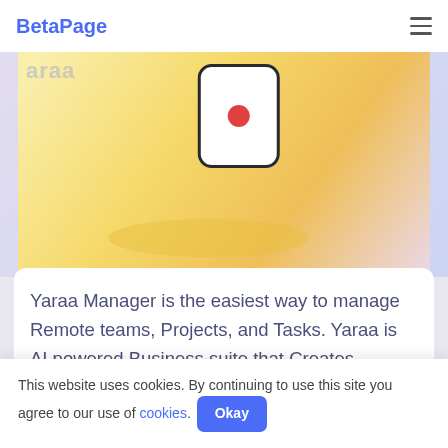BetaPage
[Figure (screenshot): Hero screenshot showing a yellow/golden gradient background with a partial phone mockup displaying a red record button, overlaid on a purple-tinted background. BetaPage logo partially visible at top left.]
Yaraa Manager is the easiest way to manage Remote teams, Projects, and Tasks. Yaraa is AI powered Business suite that Creates projects &amp; Task Scheduling Without human Interaction. Team members can chat and talk with each other with ease. It gives teams
This website uses cookies. By continuing to use this site you agree to our use of cookies. Okay
Digital Employee improve work efficiency by